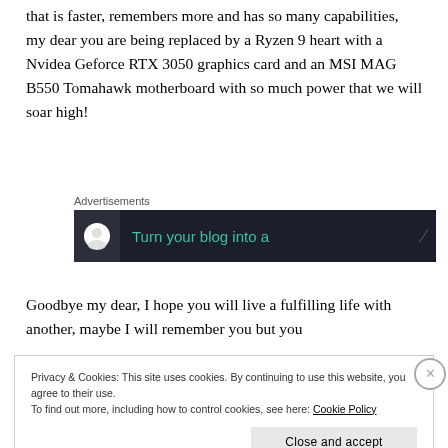that is faster, remembers more and has so many capabilities, my dear you are being replaced by a Ryzen 9 heart with a Nvidea Geforce RTX 3050 graphics card and an MSI MAG B550 Tomahawk motherboard with so much power that we will soar high!
[Figure (other): Advertisement banner with dark background showing 'Turn your blog into a' text in teal color with a logo icon on the left]
Goodbye my dear, I hope you will live a fulfilling life with another, maybe I will remember you but you
Privacy & Cookies: This site uses cookies. By continuing to use this website, you agree to their use.
To find out more, including how to control cookies, see here: Cookie Policy
Close and accept